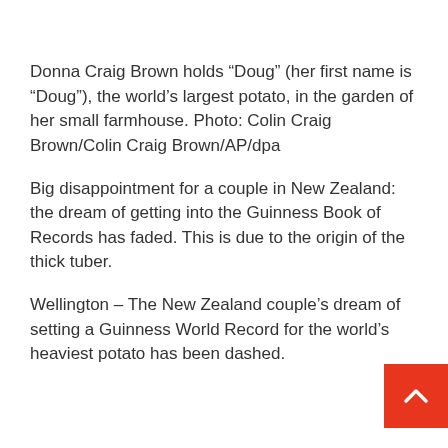Donna Craig Brown holds “Doug” (her first name is “Doug”), the world’s largest potato, in the garden of her small farmhouse. Photo: Colin Craig Brown/Colin Craig Brown/AP/dpa
Big disappointment for a couple in New Zealand: the dream of getting into the Guinness Book of Records has faded. This is due to the origin of the thick tuber.
Wellington – The New Zealand couple’s dream of setting a Guinness World Record for the world’s heaviest potato has been dashed.